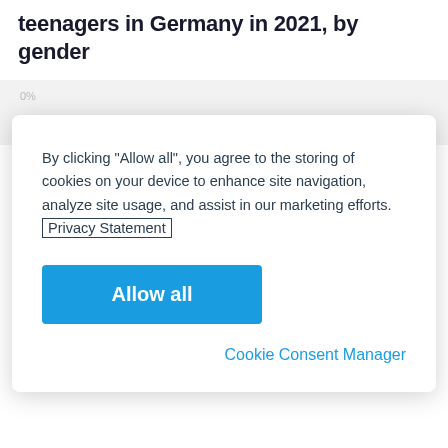teenagers in Germany in 2021, by gender
[Figure (screenshot): Cookie consent modal dialog overlaying a partially visible bar chart. The modal contains text about cookie usage, a Privacy Statement link, a blue 'Allow all' button, and a 'Cookie Consent Manager' link.]